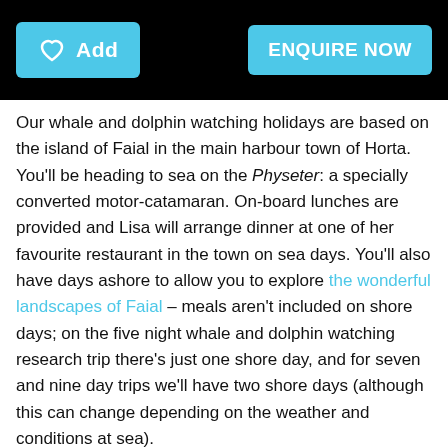Add | ENQUIRE NOW
Our whale and dolphin watching holidays are based on the island of Faial in the main harbour town of Horta. You'll be heading to sea on the Physeter: a specially converted motor-catamaran. On-board lunches are provided and Lisa will arrange dinner at one of her favourite restaurant in the town on sea days. You'll also have days ashore to allow you to explore the wonderful landscapes of Faial – meals aren't included on shore days; on the five night whale and dolphin watching research trip there's just one shore day, and for seven and nine day trips we'll have two shore days (although this can change depending on the weather and conditions at sea).
Dates for 2022: